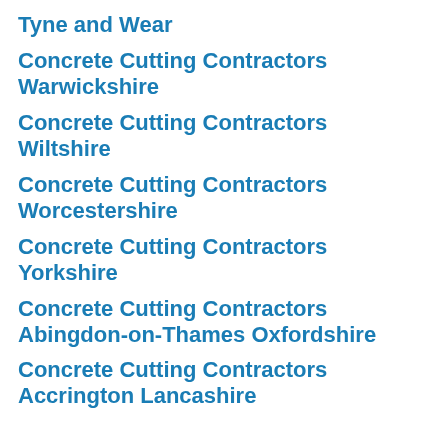Tyne and Wear
Concrete Cutting Contractors Warwickshire
Concrete Cutting Contractors Wiltshire
Concrete Cutting Contractors Worcestershire
Concrete Cutting Contractors Yorkshire
Concrete Cutting Contractors Abingdon-on-Thames Oxfordshire
Concrete Cutting Contractors Accrington Lancashire